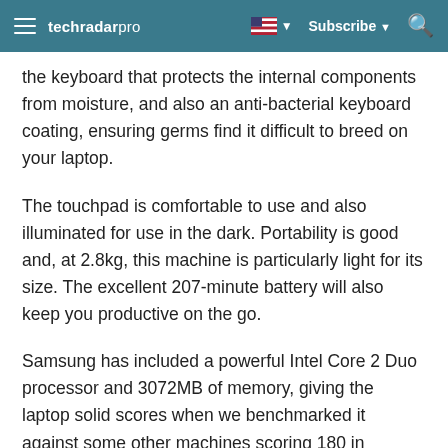techradar pro — Subscribe
the keyboard that protects the internal components from moisture, and also an anti-bacterial keyboard coating, ensuring germs find it difficult to breed on your laptop.
The touchpad is comfortable to use and also illuminated for use in the dark. Portability is good and, at 2.8kg, this machine is particularly light for its size. The excellent 207-minute battery will also keep you productive on the go.
Samsung has included a powerful Intel Core 2 Duo processor and 3072MB of memory, giving the laptop solid scores when we benchmarked it against some other machines scoring 180 in MobileMark 2007.